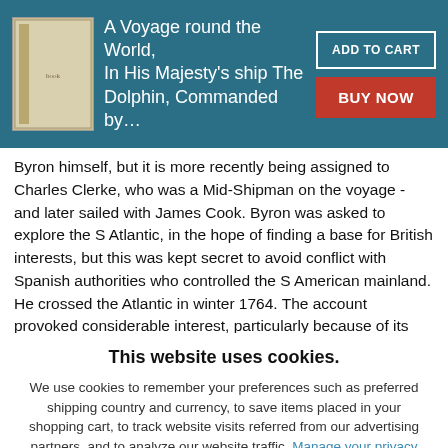A Voyage round the World, In His Majesty's ship The Dolphin, Commanded by…
Byron himself, but it is more recently being assigned to Charles Clerke, who was a Mid-Shipman on the voyage - and later sailed with James Cook. Byron was asked to explore the S Atlantic, in the hope of finding a base for British interests, but this was kept secret to avoid conflict with Spanish authorities who controlled the S American mainland. He crossed the Atlantic in winter 1764. The account provoked considerable interest, particularly because of its desciption
This website uses cookies.
We use cookies to remember your preferences such as preferred shipping country and currency, to save items placed in your shopping cart, to track website visits referred from our advertising partners, and to analyze our website traffic. Manage your privacy settings.